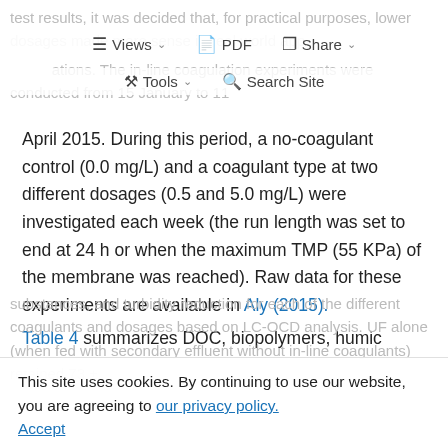Views  PDF  Share  Tools  Search Site
April 2015. During this period, a no-coagulant control (0.0 mg/L) and a coagulant type at two different dosages (0.5 and 5.0 mg/L) were investigated each week (the run length was set to end at 24 h or when the maximum TMP (55 KPa) of the membrane was reached). Raw data for these experiments are available in Aly (2015). Table 4 summarizes DOC, biopolymers, humic
This site uses cookies. By continuing to use our website, you are agreeing to our privacy policy. Accept